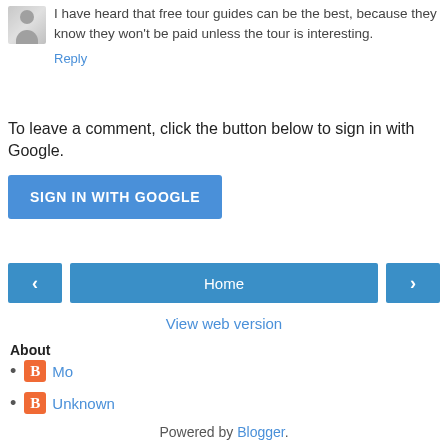I have heard that free tour guides can be the best, because they know they won't be paid unless the tour is interesting.
Reply
To leave a comment, click the button below to sign in with Google.
SIGN IN WITH GOOGLE
Home
View web version
About
Mo
Unknown
Powered by Blogger.